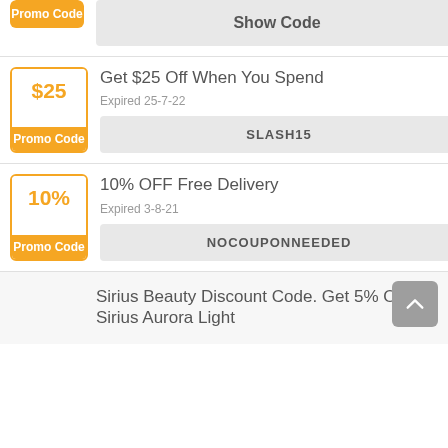[Figure (other): Partial coupon badge showing 'Promo Code' orange label, with 'Show Code' button to the right]
Get $25 Off When You Spend
Expired 25-7-22
SLASH15
10% OFF Free Delivery
Expired 3-8-21
NOCOUPONNEEDED
Sirius Beauty Discount Code. Get 5% OFF Sirius Aurora Light